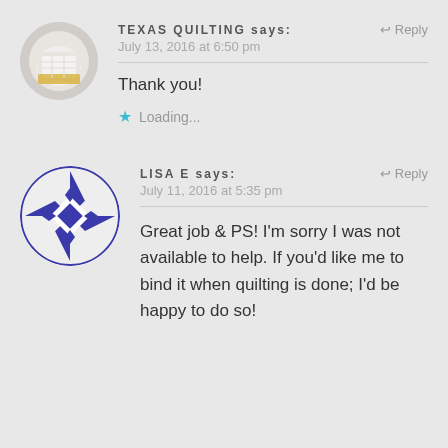[Figure (photo): Circular avatar photo showing a close-up of a quilt fabric with white and yellow/cream pattern]
TEXAS QUILTING says:
Reply
July 13, 2016 at 6:50 pm
Thank you!
Loading...
[Figure (logo): Circular avatar with blue and white geometric quilt block pattern (star/pinwheel design)]
LISA E says:
Reply
July 11, 2016 at 5:35 pm
Great job & PS! I'm sorry I was not available to help. If you'd like me to bind it when quilting is done; I'd be happy to do so!